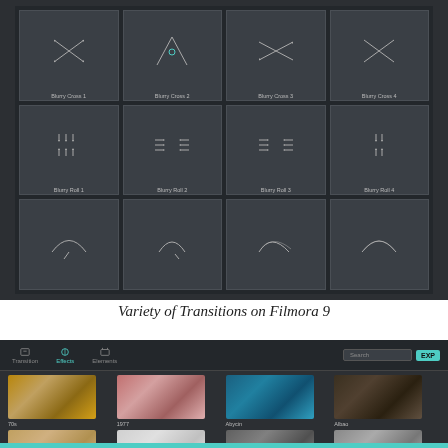[Figure (screenshot): Screenshot of Filmora 9 transition panel showing Blurry Cross 1-4 and Blurry Roll 1-4 transition thumbnails in a dark UI grid]
Variety of Transitions on Filmora 9
[Figure (screenshot): Screenshot of Filmora 9 Effects panel showing video effect thumbnails: 70s, 1977, Abycan, Albao, Amorm, AmPlash, Antonia, Ash, Auto Enhance, B&W Noise, Bad TV Signal, Balian]